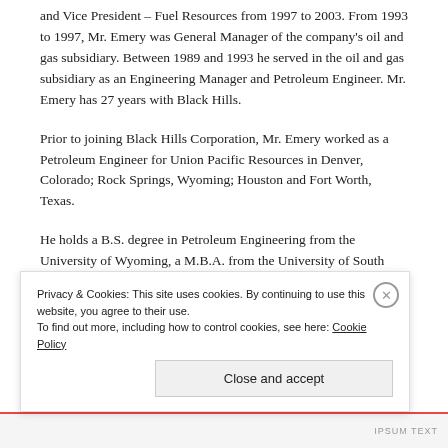and Vice President – Fuel Resources from 1997 to 2003. From 1993 to 1997, Mr. Emery was General Manager of the company's oil and gas subsidiary. Between 1989 and 1993 he served in the oil and gas subsidiary as an Engineering Manager and Petroleum Engineer. Mr. Emery has 27 years with Black Hills.
Prior to joining Black Hills Corporation, Mr. Emery worked as a Petroleum Engineer for Union Pacific Resources in Denver, Colorado; Rock Springs, Wyoming; Houston and Fort Worth, Texas.
He holds a B.S. degree in Petroleum Engineering from the University of Wyoming, a M.B.A. from the University of South Dakota and is a Registered Professional Engineer.
Privacy & Cookies: This site uses cookies. By continuing to use this website, you agree to their use.
To find out more, including how to control cookies, see here: Cookie Policy